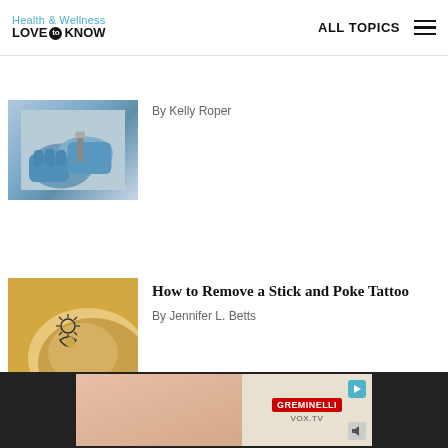Health & Wellness LOVE to KNOW | ALL TOPICS
By Kelly Roper
[Figure (photo): Close-up of gloved hands performing a medical or tattoo procedure]
How to Remove a Stick and Poke Tattoo
By Jennifer L. Betts
[Figure (photo): Woman's shoulder with a sun and moon stick-and-poke tattoo, golden hair in background]
[Figure (photo): Advertisement banner showing Greminelli product and VOX.TV branding]